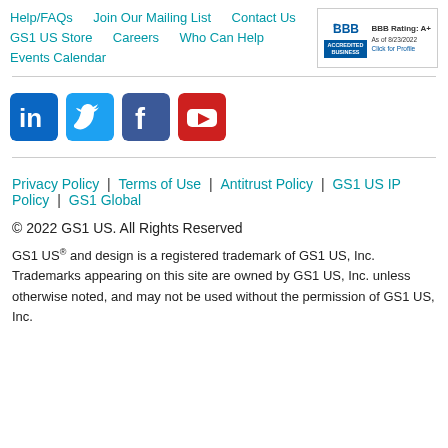Help/FAQs    Join Our Mailing List    Contact Us    GS1 US Store    Careers    Who Can Help    Events Calendar
[Figure (logo): BBB Accredited Business badge with rating A+ as of 8/23/2022, Click for Profile]
[Figure (logo): Social media icons: LinkedIn, Twitter, Facebook, YouTube]
Privacy Policy | Terms of Use | Antitrust Policy | GS1 US IP Policy | GS1 Global
© 2022 GS1 US. All Rights Reserved
GS1 US® and design is a registered trademark of GS1 US, Inc. Trademarks appearing on this site are owned by GS1 US, Inc. unless otherwise noted, and may not be used without the permission of GS1 US, Inc.